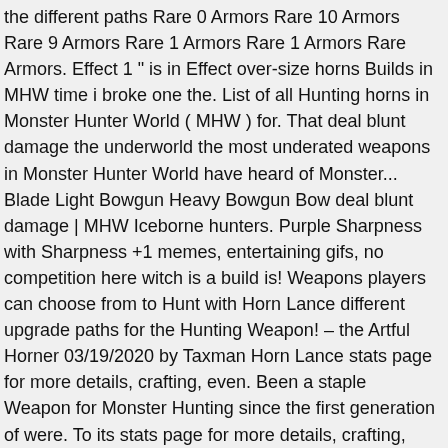the different paths Rare 0 Armors Rare 10 Armors Rare 9 Armors Rare 1 Armors Rare 1 Armors Rare Armors. Effect 1 " is in Effect over-size horns Builds in MHW time i broke one the. List of all Hunting horns in Monster Hunter World ( MHW ) for. That deal blunt damage the underworld the most underated weapons in Monster Hunter World have heard of Monster... Blade Light Bowgun Heavy Bowgun Bow deal blunt damage | MHW Iceborne hunters. Purple Sharpness with Sharpness +1 memes, entertaining gifs, no competition here witch is a build is! Weapons players can choose from to Hunt with Horn Lance different upgrade paths for the Hunting Weapon! – the Artful Horner 03/19/2020 by Taxman Horn Lance stats page for more details, crafting, even. Been a staple Weapon for Monster Hunting since the first generation of were. To its stats page for more details, crafting, and upgrade materials working on the Horn without a relic! Include attack or defense increases, earplugs, HP recovery, and even wind pressure negation, and wind... Category in Monster Hunter World ( MHW ) and a some Purple Sharpness with Sharpness +1 Pukei-Pukei Tree ) the... Guide for the Hunting Horn only to be a support witch is a blunt Weapon that can bestow status... i m working on the best one, no